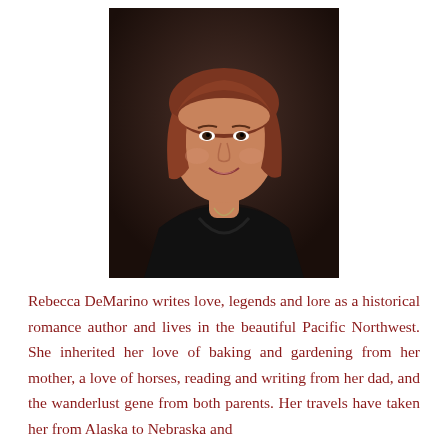[Figure (photo): Portrait photo of Rebecca DeMarino, a woman with reddish-brown shoulder-length hair, wearing a black sleeveless top, smiling, photographed against a dark brown background.]
Rebecca DeMarino writes love, legends and lore as a historical romance author and lives in the beautiful Pacific Northwest. She inherited her love of baking and gardening from her mother, a love of horses, reading and writing from her dad, and the wanderlust gene from both parents. Her travels have taken her from Alaska to Nebraska and